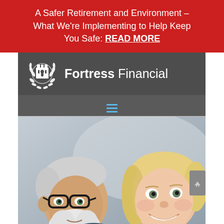A Safer Retirement and Environment – What We're Implementing to Help Keep You Safe: READ MORE
[Figure (logo): Fortress Financial logo on dark gray background with white castle tower icon in laurel wreath and text 'Fortress Financial']
[Figure (photo): Elderly couple smiling — an older man with white beard and black glasses on the left, and an older blonde woman on the right]